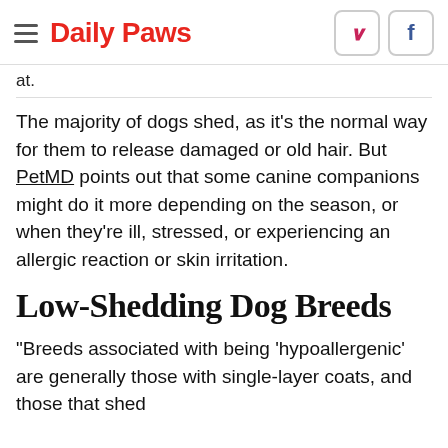Daily Paws
at.
The majority of dogs shed, as it's the normal way for them to release damaged or old hair. But PetMD points out that some canine companions might do it more depending on the season, or when they're ill, stressed, or experiencing an allergic reaction or skin irritation.
Low-Shedding Dog Breeds
“Breeds associated with being ‘hypoallergenic’ are generally those with single-layer coats, and those that shed